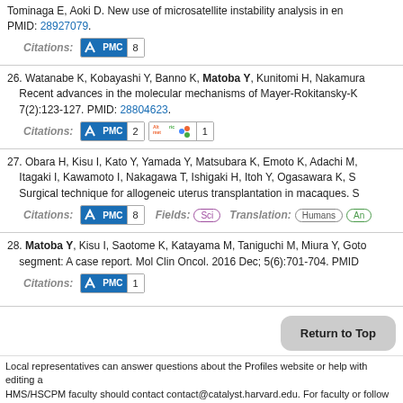Tominaga E, Aoki D. New use of microsatellite instability analysis in en PMID: 28927079.
Citations: PMC 8
26. Watanabe K, Kobayashi Y, Banno K, Matoba Y, Kunitomi H, Nakamura Recent advances in the molecular mechanisms of Mayer-Rokitansky-K 7(2):123-127. PMID: 28804623.
Citations: PMC 2  Altmetric 1
27. Obara H, Kisu I, Kato Y, Yamada Y, Matsubara K, Emoto K, Adachi M, Itagaki I, Kawamoto I, Nakagawa T, Ishigaki H, Itoh Y, Ogasawara K, S Surgical technique for allogeneic uterus transplantation in macaques. S
Citations: PMC 8  Fields: Sci  Translation: Humans  An
28. Matoba Y, Kisu I, Saotome K, Katayama M, Taniguchi M, Miura Y, Goto segment: A case report. Mol Clin Oncol. 2016 Dec; 5(6):701-704. PMID
Citations: PMC 1
Return to Top
Local representatives can answer questions about the Profiles website or help with editing a HMS/HSCPM faculty should contact contact@catalyst.harvard.edu. For faculty or follow